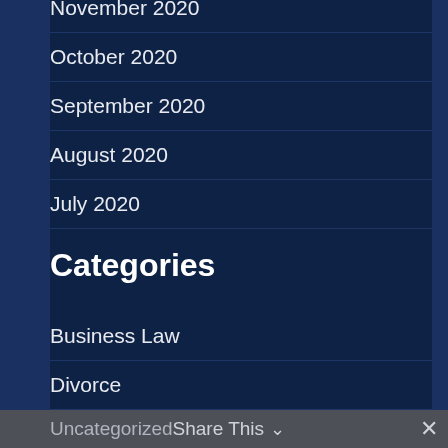November 2020
October 2020
September 2020
August 2020
July 2020
Categories
Business Law
Divorce
Firm News
Probate
Uncategorized  Share This  ✓  ✕